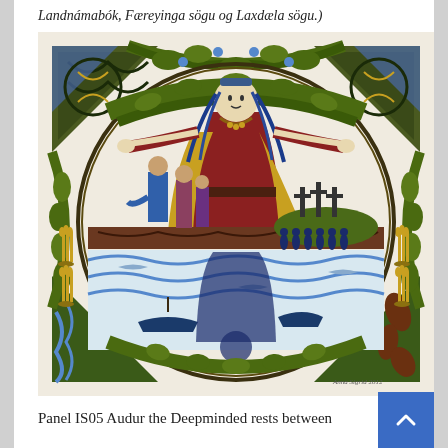Landnámabók, Færeyinga sögu og Laxdæla sögu.)
[Figure (photo): Colorful textile artwork panel depicting Audur the Deepminded, a Norse/Celtic style embroidery or batik piece showing a central female figure with outstretched arms, surrounded by scenes of people, ships, water, crosses on a mound, and Celtic knotwork border elements. The panel is square with a circular central design. Artist signature visible in lower right corner.]
Panel IS05 Audur the Deepminded rests between